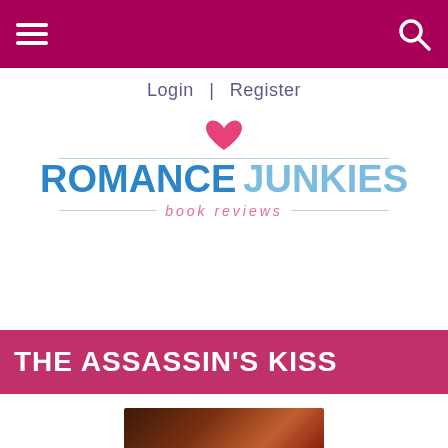Navigation header bar with hamburger menu and search icon
Login  |  Register
[Figure (logo): Romance Junkies book reviews logo with pink heart, blue and light-blue bold text, horizontal lines, and pink italic 'book reviews' tagline]
THE ASSASSIN'S KISS
[Figure (photo): Book cover image for The Assassin's Kiss, showing a dark dramatic cover]